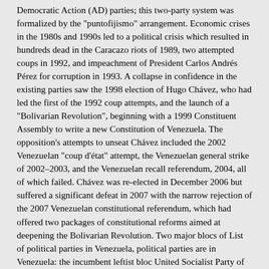Democratic Action (AD) parties; this two-party system was formalized by the "puntofijismo" arrangement. Economic crises in the 1980s and 1990s led to a political crisis which resulted in hundreds dead in the Caracazo riots of 1989, two attempted coups in 1992, and impeachment of President Carlos Andrés Pérez for corruption in 1993. A collapse in confidence in the existing parties saw the 1998 election of Hugo Chávez, who had led the first of the 1992 coup attempts, and the launch of a "Bolivarian Revolution", beginning with a 1999 Constituent Assembly to write a new Constitution of Venezuela. The opposition's attempts to unseat Chávez included the 2002 Venezuelan "coup d'état" attempt, the Venezuelan general strike of 2002–2003, and the Venezuelan recall referendum, 2004, all of which failed. Chávez was re-elected in December 2006 but suffered a significant defeat in 2007 with the narrow rejection of the 2007 Venezuelan constitutional referendum, which had offered two packages of constitutional reforms aimed at deepening the Bolivarian Revolution. Two major blocs of List of political parties in Venezuela, political parties are in Venezuela: the incumbent leftist bloc United Socialist Party of Venezuela (PSUV), its major allies Fatherland for All (PPT) and the Communist Party of Venezuela